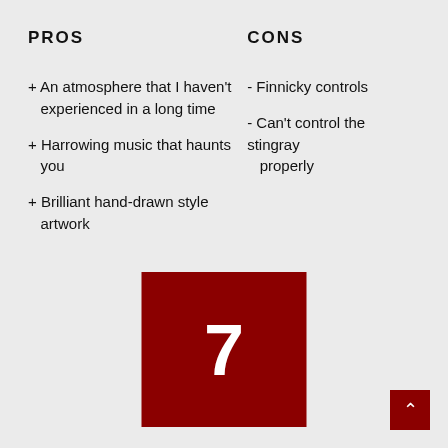PROS
CONS
+ An atmosphere that I haven't experienced in a long time
+ Harrowing music that haunts you
+ Brilliant hand-drawn style artwork
- Finnicky controls
- Can't control the stingray properly
[Figure (other): Dark red square with large white number 7 centered inside, representing a review score]